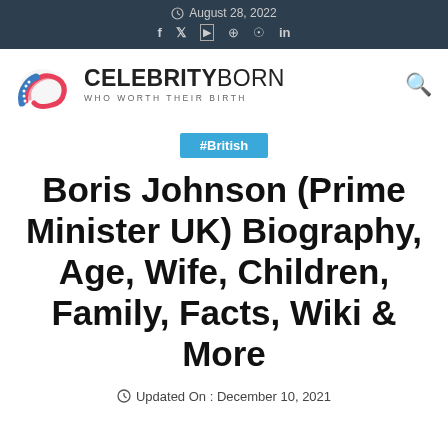August 28, 2022
[Figure (logo): CelebrityBorn logo with film reel icon and tagline WHO WORTH THEIR BIRTH]
#British
Boris Johnson (Prime Minister UK) Biography, Age, Wife, Children, Family, Facts, Wiki & More
Updated On : December 10, 2021